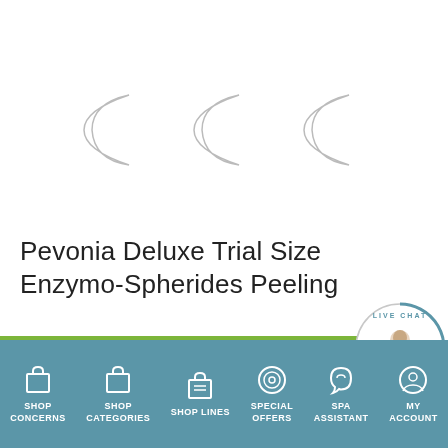[Figure (photo): Three crescent/partial circle shapes representing product images (loading placeholders) arranged horizontally on white background]
Pevonia Deluxe Trial Size Enzymo-Spherides Peeling
[Figure (other): Green ADD TO CART button bar with Live Chat With A Pro circular badge on the right]
[Figure (other): Bottom navigation bar with icons and labels: SHOP CONCERNS, SHOP CATEGORIES, SHOP LINES, SPECIAL OFFERS, SPA ASSISTANT, MY ACCOUNT]